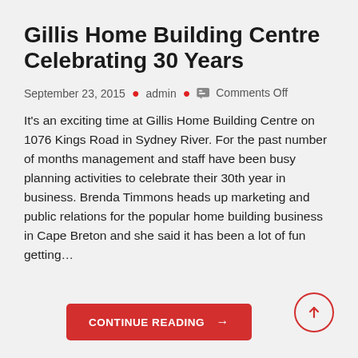Gillis Home Building Centre Celebrating 30 Years
September 23, 2015 • admin • 💬 Comments Off
It's an exciting time at Gillis Home Building Centre on 1076 Kings Road in Sydney River. For the past number of months management and staff have been busy planning activities to celebrate their 30th year in business. Brenda Timmons heads up marketing and public relations for the popular home building business in Cape Breton and she said it has been a lot of fun getting…
CONTINUE READING →